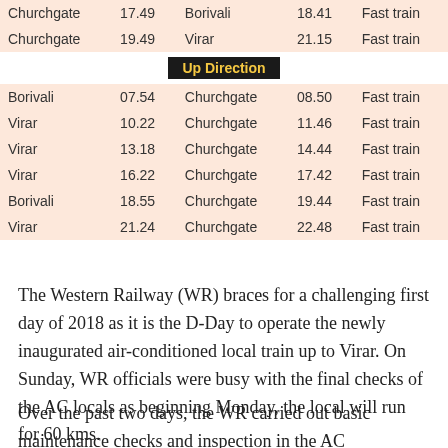| From | Depart | To | Arrive | Type |
| --- | --- | --- | --- | --- |
| Churchgate | 17.49 | Borivali | 18.41 | Fast train |
| Churchgate | 19.49 | Virar | 21.15 | Fast train |
| Up Direction |  |  |  |  |
| Borivali | 07.54 | Churchgate | 08.50 | Fast train |
| Virar | 10.22 | Churchgate | 11.46 | Fast train |
| Virar | 13.18 | Churchgate | 14.44 | Fast train |
| Virar | 16.22 | Churchgate | 17.42 | Fast train |
| Borivali | 18.55 | Churchgate | 19.44 | Fast train |
| Virar | 21.24 | Churchgate | 22.48 | Fast train |
The Western Railway (WR) braces for a challenging first day of 2018 as it is the D-Day to operate the newly inaugurated air-conditioned local train up to Virar. On Sunday, WR officials were busy with the final checks of the AC locals as beginning Monday, the local will run for 60 kms.
Over the past two days, the WR carried out basic maintenance checks and inspection in the AC